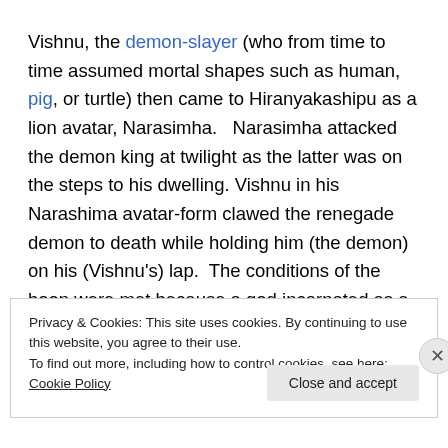Vishnu, the demon-slayer (who from time to time assumed mortal shapes such as human, pig, or turtle) then came to Hiranyakashipu as a lion avatar, Narasimha.   Narasimha attacked the demon king at twilight as the latter was on the steps to his dwelling. Vishnu in his Narashima avatar-form clawed the renegade demon to death while holding him (the demon) on his (Vishnu's) lap.  The conditions of the boon were met because a god incarnated as a lion monster is neither man nor animal and Vishnu was holding
Privacy & Cookies: This site uses cookies. By continuing to use this website, you agree to their use.
To find out more, including how to control cookies, see here: Cookie Policy